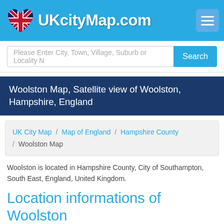UKcityMap.com
Please Enter City, Town, Village, Suburb or Locality
Woolston Map, Satellite view of Woolston, Hampshire, England
UK City Map / Map of England / Hampshire County / Woolston Map
Woolston is located in Hampshire County, City of Southampton, South East, England, United Kingdom.
Location informations of Woolston
Latitude of city of Woolston is 50.89852 and longitude of city of Woolston is -1.37354. Woolston has 1 area codes and is in...